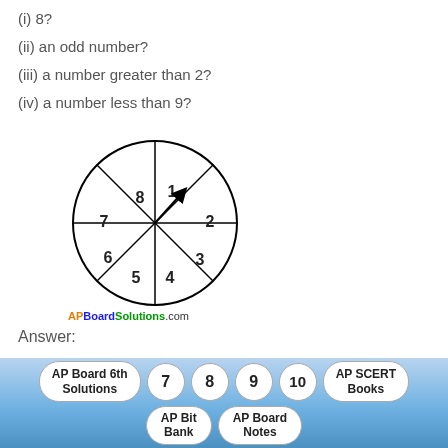(i) 8?
(ii) an odd number?
(iii) a number greater than 2?
(iv) a number less than 9?
[Figure (illustration): A spinner divided into 8 equal sections numbered 1 through 8, with an arrow pointing toward section 1.]
APBoardSolutions.com
Answer:
Number of total outcomes are (1,2,…………, 8) = 8
i) Number of outcomes favourable to 8 = 1.
AP Board 6th Solutions | 7 | 8 | 9 | 10 | AP SCERT Books | AP Bit Bank | AP Board Notes